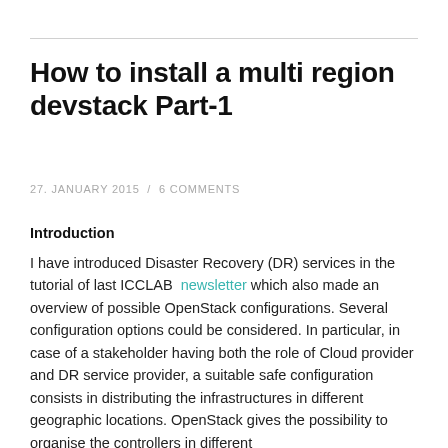How to install a multi region devstack Part-1
27. JANUARY 2015  /  6 COMMENTS
Introduction
I have introduced Disaster Recovery (DR) services in the tutorial of last ICCLAB  newsletter which also made an overview of possible OpenStack configurations. Several configuration options could be considered. In particular, in case of a stakeholder having both the role of Cloud provider and DR service provider, a suitable safe configuration consists in distributing the infrastructures in different geographic locations. OpenStack gives the possibility to organise the controllers in different